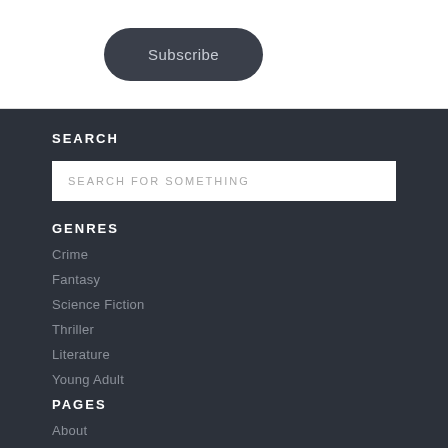Subscribe
SEARCH
SEARCH FOR SOMETHING
GENRES
Crime
Fantasy
Science Fiction
Thriller
Literature
Young Adult
PAGES
About
Contact